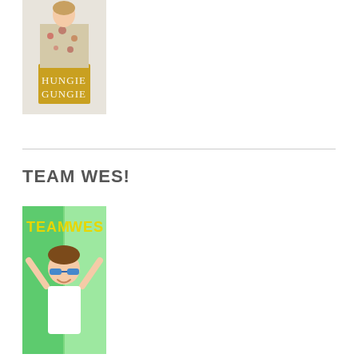[Figure (photo): Young girl in floral dress with yellow skirt, text overlay reading HUNGIE GUNGIE]
TEAM WES!
[Figure (photo): Young boy with arms raised wearing blue sunglasses, green background with text TEAM WES]